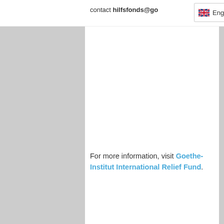contact hilfsfonds@go...
For more information, visit Goethe-Institut International Relief Fund.